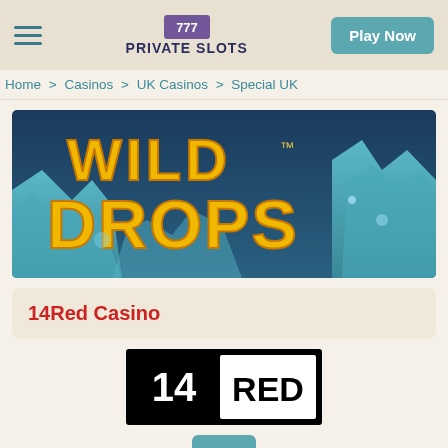PRIVATE SLOTS | Play Now
Home > Casinos > UK Casinos > Special UK
[Figure (illustration): Wild Drops slot game banner with golden 3D text 'WILD DROPS' on a blue icy canyon background]
14Red Casino
[Figure (logo): 14Red Casino logo: black rectangle with '14' in white and 'RED' in white bold text on right side with white border outline]
[Figure (other): Partial teal/green button at bottom of page]